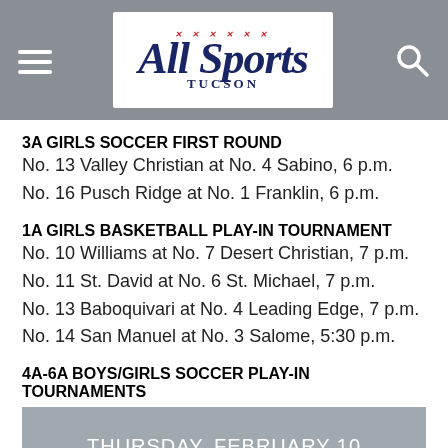All Sports Tucson — navigation header with logo, hamburger menu, and search icon
3A GIRLS SOCCER FIRST ROUND
No. 13 Valley Christian at No. 4 Sabino, 6 p.m.
No. 16 Pusch Ridge at No. 1 Franklin, 6 p.m.
1A GIRLS BASKETBALL PLAY-IN TOURNAMENT
No. 10 Williams at No. 7 Desert Christian, 7 p.m.
No. 11 St. David at No. 6 St. Michael, 7 p.m.
No. 13 Baboquivari at No. 4 Leading Edge, 7 p.m.
No. 14 San Manuel at No. 3 Salome, 5:30 p.m.
4A-6A BOYS/GIRLS SOCCER PLAY-IN TOURNAMENTS
THURSDAY, FEBRUARY 10
5A BOYS BASKETBALL PLAY-IN TOURNAMENT